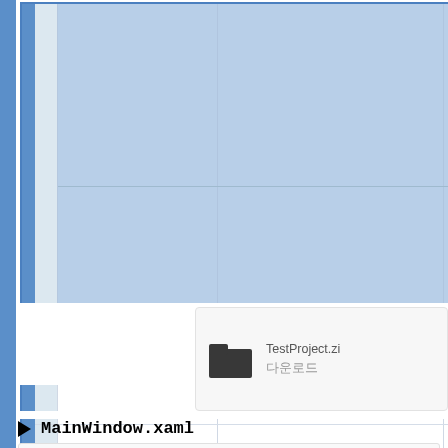[Figure (screenshot): A cropped screenshot showing a spreadsheet/grid application with blue-highlighted cells in the top rows, a partial table with row headers and multiple columns. On the right side, red bold text labels are visible (Capacity, MPG C, # of G, Autom, Price /, Descri) followed by black text (Engine, alloy c, Net po). Below the spreadsheet area is a car photo partially visible. In the lower portion of the screenshot, a file download box shows a folder icon with 'TestProject.zi' filename and Korean text '다운로드'. Below that is a collapsible section header showing a right-pointing triangle followed by 'MainWindow.xaml' in bold monospace font. At the very bottom is a code snippet area.]